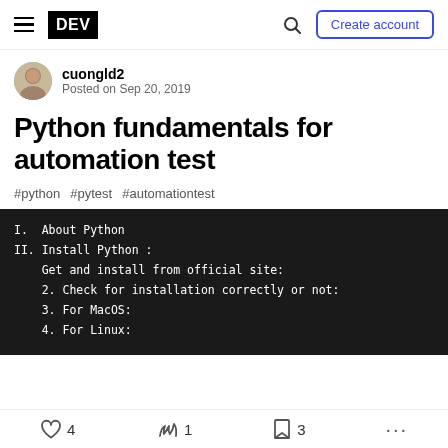DEV | Create account
cuongld2
Posted on Sep 20, 2019
Python fundamentals for automation test
#python #pytest #automationtest
I. About Python
II. Install Python :
    Get and install from official site:
    2. Check for installation correctly or not:
    3. For MacOS:
    4. For Linux:
4 likes | 1 unicorn | 3 bookmarks